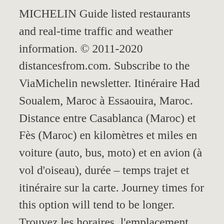MICHELIN Guide listed restaurants and real-time traffic and weather information. © 2011-2020 distancesfrom.com. Subscribe to the ViaMichelin newsletter. Itinéraire Had Soualem, Maroc à Essaouira, Maroc. Distance entre Casablanca (Maroc) et Fès (Maroc) en kilomètres et miles en voiture (auto, bus, moto) et en avion (à vol d'oiseau), durée – temps trajet et itinéraire sur la carte. Journey times for this option will tend to be longer. Trouvez les horaires, l'emplacement des gares routières, le numéro de téléphone, les promos et les services offerts à bord des bus CTM. ( 45 minutes) 32 mins. You can also choose the fastest route (in terms of travel time) or the shortest (in terms of distance covered). La